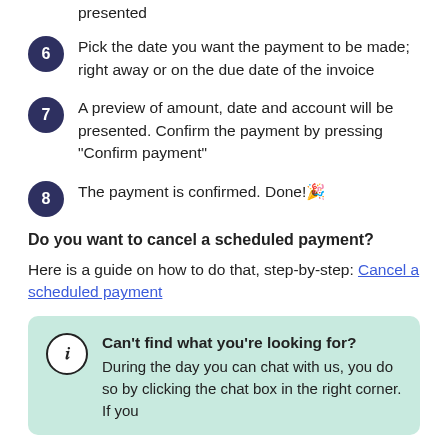presented
6 Pick the date you want the payment to be made; right away or on the due date of the invoice
7 A preview of amount, date and account will be presented. Confirm the payment by pressing "Confirm payment"
8 The payment is confirmed. Done!🎉
Do you want to cancel a scheduled payment?
Here is a guide on how to do that, step-by-step: Cancel a scheduled payment
Can't find what you're looking for? During the day you can chat with us, you do so by clicking the chat box in the right corner. If you